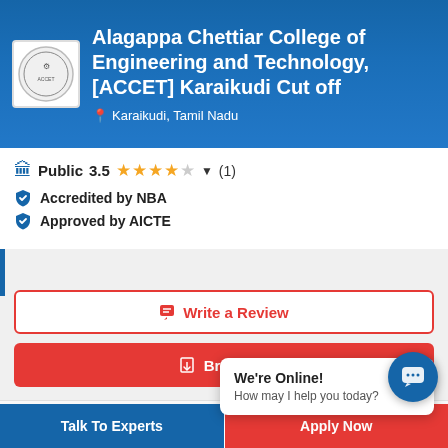Alagappa Chettiar College of Engineering and Technology, [ACCET] Karaikudi Cut off
Karaikudi, Tamil Nadu
Public 3.5 ★★★★☆ ▼ (1)
Accredited by NBA
Approved by AICTE
Write a Review
Brochure
Updated on Aug 29, 2022 by Rajalakshmi BK
We're Online! How may I help you today?
Info  Courses & Fees  A  Place
Talk To Experts
Apply Now